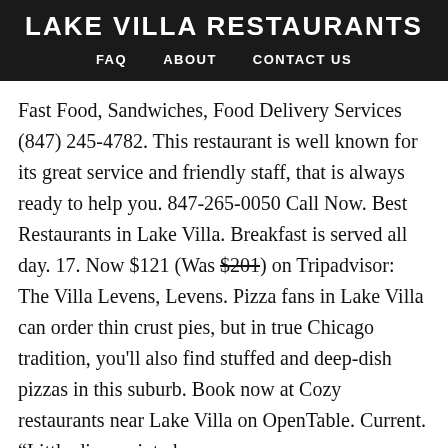LAKE VILLA RESTAURANTS
FAQ   ABOUT   CONTACT US
Fast Food, Sandwiches, Food Delivery Services (847) 245-4782. This restaurant is well known for its great service and friendly staff, that is always ready to help you. 847-265-0050 Call Now. Best Restaurants in Lake Villa. Breakfast is served all day. 17. Now $121 (Was $201) on Tripadvisor: The Villa Levens, Levens. Pizza fans in Lake Villa can order thin crust pies, but in true Chicago tradition, you'll also find stuffed and deep-dish pizzas in this suburb. Book now at Cozy restaurants near Lake Villa on OpenTable. Current. “Little disappointed ...